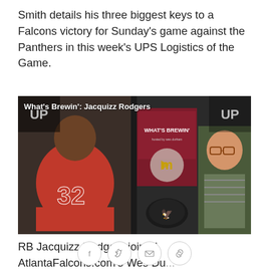Smith details his three biggest keys to a Falcons victory for Sunday's game against the Panthers in this week's UPS Logistics of the Game.
[Figure (screenshot): Video thumbnail showing 'What's Brewin': Jacquizz Rodgers' – a football player wearing jersey #32 sitting next to a man in a striped shirt, with a McDonald's 'What's Brewin'' sign in the background and a play button overlay. An Atlanta Falcons helmet sits on a surface between them.]
RB Jacquizz Rodgers joined AtlantaFalcons.com's Wes Du... (text cut off)
[Figure (infographic): Social sharing icon bar with Facebook, Twitter, email, and link icons in circular outlines]